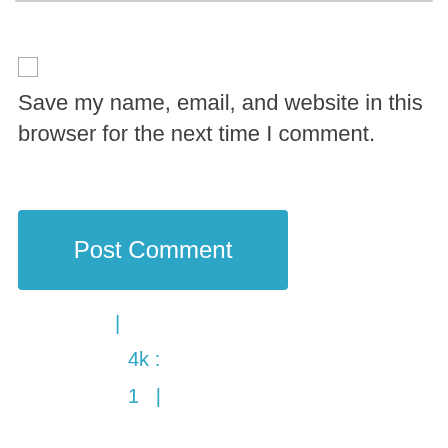Save my name, email, and website in this browser for the next time I comment.
Post Comment
|
4k :
1  |